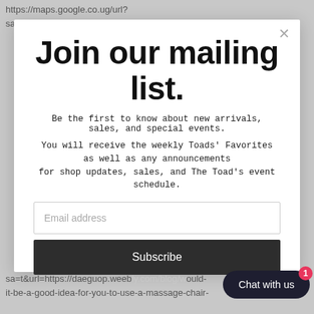https://maps.google.co.ug/url?sa=t&url=https://daeguop.weebly.com/blog/would-
Join our mailing list.
Be the first to know about new arrivals, sales, and special events.
You will receive the weekly Toads' Favorites as well as any announcements for shop updates, sales, and The Toad's event schedule.
Email address
Subscribe
Chat with us
sa=t&url=https://daeguop.weebly.com/blog/would-it-be-a-good-idea-for-you-to-use-a-massage-chair-